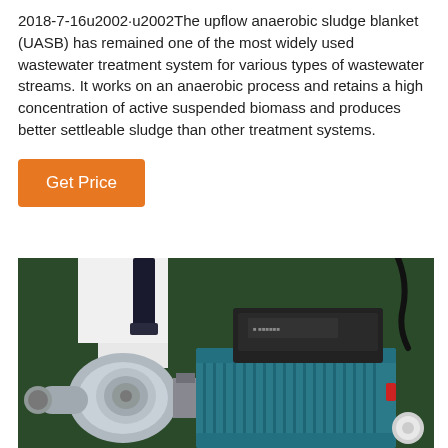2018-7-16u2002·u2002The upflow anaerobic sludge blanket (UASB) has remained one of the most widely used wastewater treatment system for various types of wastewater streams. It works on an anaerobic process and retains a high concentration of active suspended biomass and produces better settleable sludge than other treatment systems.
Get Price
[Figure (photo): Close-up photograph of an industrial pump or motor assembly. The left side shows a shiny stainless steel pump head with fittings. The right side shows a teal/blue electric motor with a black control box on top. The background is dark green.]